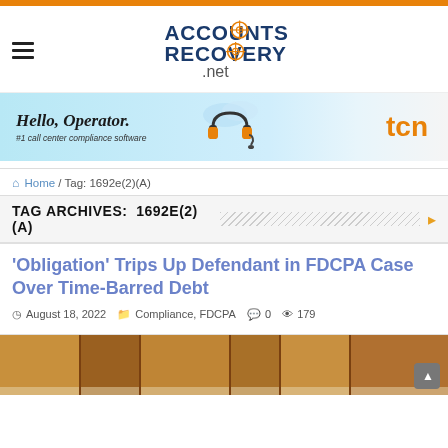[Figure (logo): AccountsRecovery.net logo in dark blue with orange crosshair icon]
[Figure (illustration): TCN call center compliance software advertisement banner with headset illustration, text: Hello, Operator. #1 call center compliance software, and TCN logo in orange]
Home / Tag: 1692e(2)(A)
TAG ARCHIVES: 1692E(2)(A)
'Obligation' Trips Up Defendant in FDCPA Case Over Time-Barred Debt
August 18, 2022   Compliance, FDCPA   0   179
[Figure (photo): Photo of open books/legal texts, warm orange-brown tones]